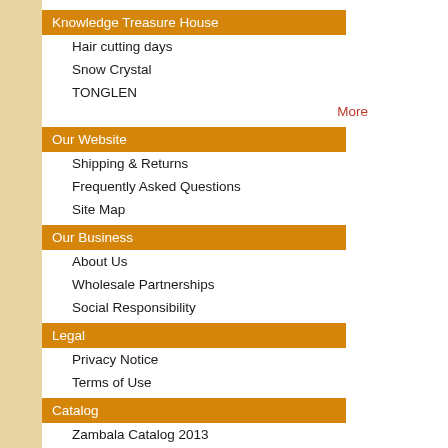Knowledge Treasure House
Hair cutting days
Snow Crystal
TONGLEN
More
Our Website
Shipping & Returns
Frequently Asked Questions
Site Map
Our Business
About Us
Wholesale Partnerships
Social Responsibility
Legal
Privacy Notice
Terms of Use
Catalog
Zambala Catalog 2013
Zambala Catalog 2018